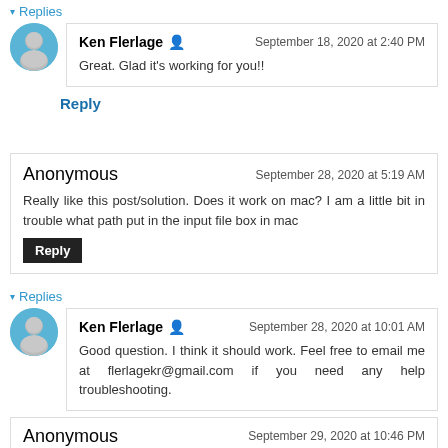▾ Replies
Ken Flerlage 🔒   September 18, 2020 at 2:40 PM
Great. Glad it's working for you!!
Reply
Anonymous   September 28, 2020 at 5:19 AM
Really like this post/solution. Does it work on mac? I am a little bit in trouble what path put in the input file box in mac
Reply
▾ Replies
Ken Flerlage 🔒   September 28, 2020 at 10:01 AM
Good question. I think it should work. Feel free to email me at flerlagekr@gmail.com if you need any help troubleshooting.
Anonymous   September 29, 2020 at 10:46 PM